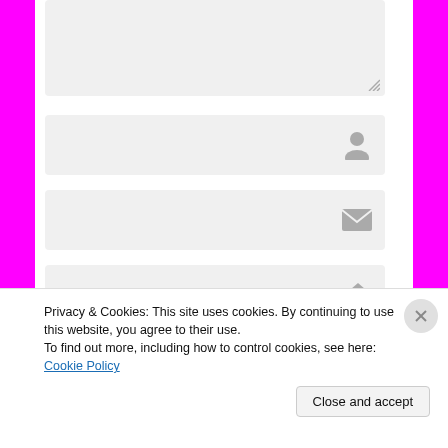[Figure (screenshot): Textarea form field with resize handle in bottom-right corner, light gray background]
[Figure (screenshot): Text input form field with person/user icon on the right side]
[Figure (screenshot): Text input form field with email/envelope icon on the right side]
[Figure (screenshot): Text input form field with website/home icon on the right side]
[Figure (screenshot): Dark submit button (partially visible)]
Privacy & Cookies: This site uses cookies. By continuing to use this website, you agree to their use.
To find out more, including how to control cookies, see here: Cookie Policy
Close and accept